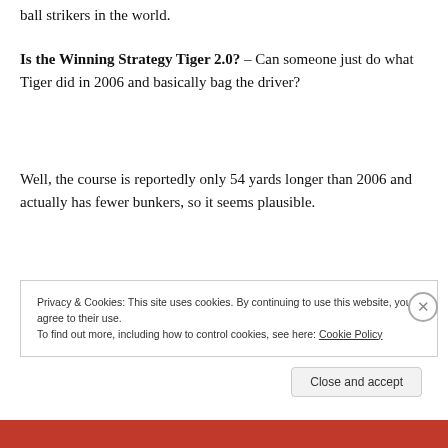ball strikers in the world.
Is the Winning Strategy Tiger 2.0? – Can someone just do what Tiger did in 2006 and basically bag the driver?
Well, the course is reportedly only 54 yards longer than 2006 and actually has fewer bunkers, so it seems plausible.
Privacy & Cookies: This site uses cookies. By continuing to use this website, you agree to their use.
To find out more, including how to control cookies, see here: Cookie Policy
Close and accept